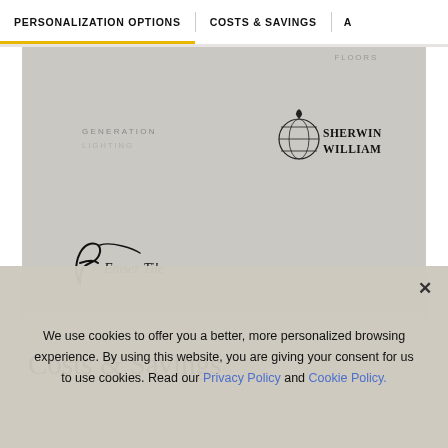PERSONALIZATION OPTIONS | COSTS & SAVINGS | A
[Figure (other): Grey panel showing brand logos: Generation Lighting, Sherwin-Williams, and Emser Tile. 'FLOORS' text partially visible at top right.]
Costs & Savings
We use cookies to offer you a better, more personalized browsing experience. By using this website, you are giving your consent for us to use cookies. Read our Privacy Policy and Cookie Policy.